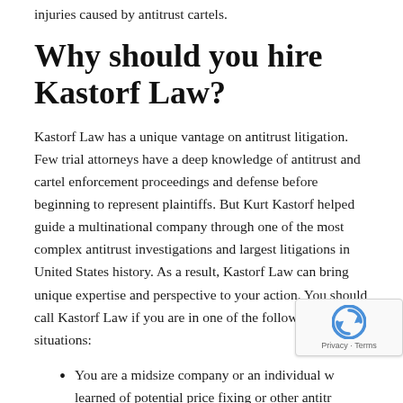injuries caused by antitrust cartels.
Why should you hire Kastorf Law?
Kastorf Law has a unique vantage on antitrust litigation. Few trial attorneys have a deep knowledge of antitrust and cartel enforcement proceedings and defense before beginning to represent plaintiffs. But Kurt Kastorf helped guide a multinational company through one of the most complex antitrust investigations and largest litigations in United States history. As a result, Kastorf Law can bring unique expertise and perspective to your action. You should call Kastorf Law if you are in one of the following situations:
You are a midsize company or an individual w… learned of potential price fixing or other antitr… violations at your company, and you want to k…